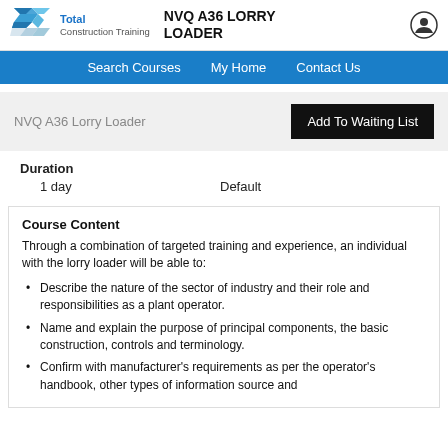Total Construction Training — NVQ A36 LORRY LOADER
Search Courses   My Home   Contact Us
NVQ A36 Lorry Loader
Add To Waiting List
Duration
1 day
Default
Course Content
Through a combination of targeted training and experience, an individual with the lorry loader will be able to:
Describe the nature of the sector of industry and their role and responsibilities as a plant operator.
Name and explain the purpose of principal components, the basic construction, controls and terminology.
Confirm with manufacturer's requirements as per the operator's handbook, other types of information source and